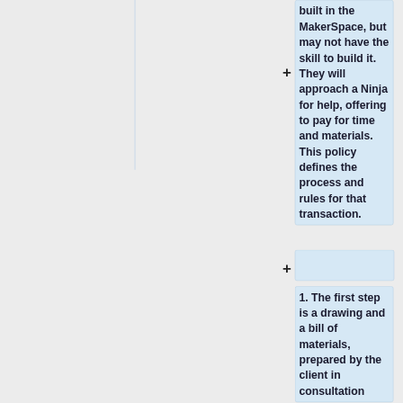built in the MakerSpace, but may not have the skill to build it.  They will approach a Ninja for help, offering to pay for time and materials. This policy defines the process and rules for that transaction.
1.  The first step is a drawing and a bill of materials, prepared by the client in consultation